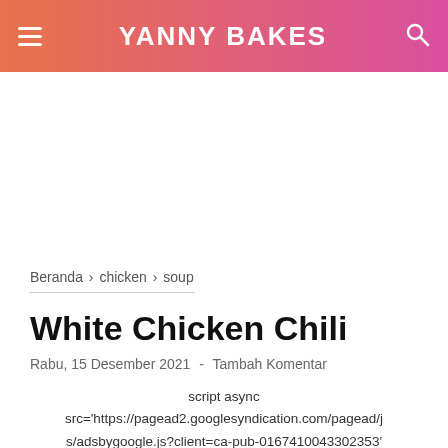YANNY BAKES
Beranda › chicken › soup
White Chicken Chili
Rabu, 15 Desember 2021  -  Tambah Komentar
script async src='https://pagead2.googlesyndication.com/pagead/js/adsbygoogle.js?client=ca-pub-0167410043302353'